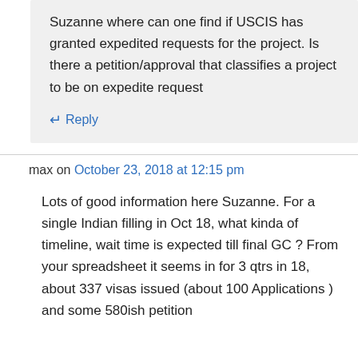Suzanne where can one find if USCIS has granted expedited requests for the project. Is there a petition/approval that classifies a project to be on expedite request
↵ Reply
max on October 23, 2018 at 12:15 pm
Lots of good information here Suzanne. For a single Indian filling in Oct 18, what kinda of timeline, wait time is expected till final GC ? From your spreadsheet it seems in for 3 qtrs in 18, about 337 visas issued (about 100 Applications ) and some 580ish petition